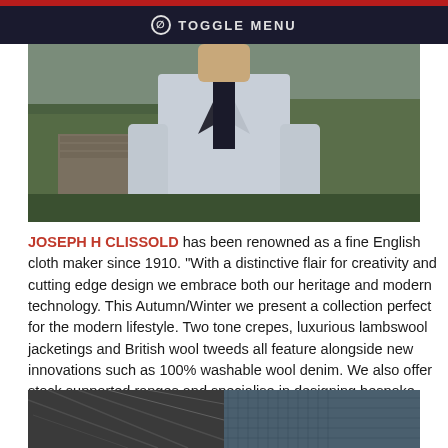⊘ TOGGLE MENU
[Figure (photo): Man wearing a light grey suit jacket outdoors with greenery in background]
JOSEPH H CLISSOLD has been renowned as a fine English cloth maker since 1910. “With a distinctive flair for creativity and cutting edge design we embrace both our heritage and modern technology. This Autumn/Winter we present a collection perfect for the modern lifestyle. Two tone crepes, luxurious lambswool jacketings and British wool tweeds all feature alongside new innovations such as 100% washable wool denim. We also offer stock supported ranges and specialise in designing bespoke custom-made fabrics”.
[Figure (photo): Close-up of dark grey wool fabric texture on the left and blue textured fabric on the right]